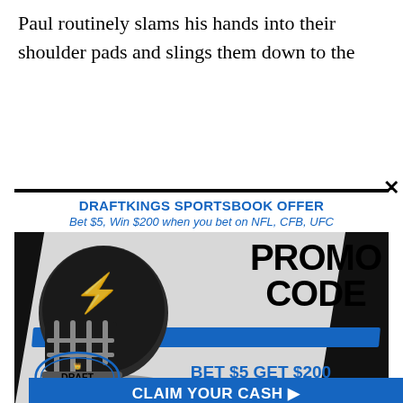Paul routinely slams his hands into their shoulder pads and slings them down to the
[Figure (screenshot): DraftKings Sportsbook advertisement popup with close button (×). Title: DRAFTKINGS SPORTSBOOK OFFER. Subtitle: Bet $5, Win $200 when you bet on NFL, CFB, UFC. Image shows a football helmet with 'PROMO CODE' text, DraftKings logo oval, 'BET $5 GET $200 IN FREE BETS' text. Blue button at bottom: CLAIM YOUR CASH]